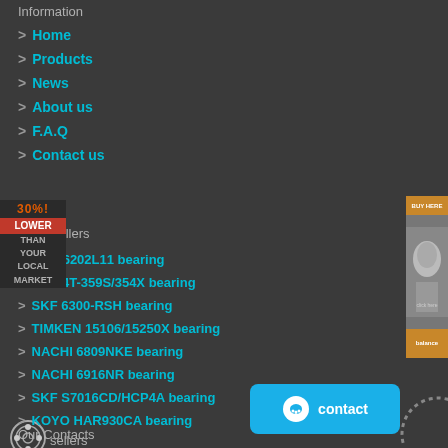Information
Home
Products
News
About us
F.A.Q
Contact us
sellers
NSK 6202L11 bearing
NTN 4T-359S/354X bearing
SKF 6300-RSH bearing
TIMKEN 15106/15250X bearing
NACHI 6809NKE bearing
NACHI 6916NR bearing
SKF S7016CD/HCP4A bearing
KOYO HAR930CA bearing
Our Contacts
[Figure (other): Advertisement banner with woman photo and orange accents]
[Figure (other): 30% LOWER THAN YOUR LOCAL MARKET promotional badge]
[Figure (other): Bearing product circular icon]
[Figure (other): Blue contact button with chat icon]